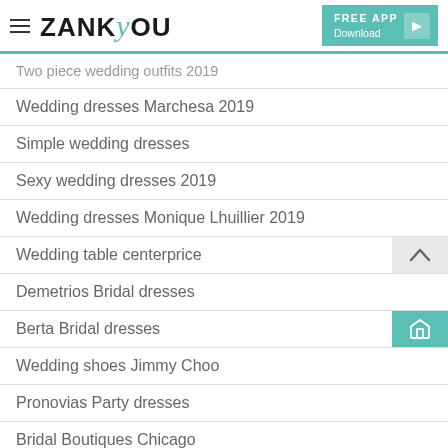ZANKYOU — FREE APP Download
Two piece wedding outfits 2019
Wedding dresses Marchesa 2019
Simple wedding dresses
Sexy wedding dresses 2019
Wedding dresses Monique Lhuillier 2019
Wedding table centerprice
Demetrios Bridal dresses
Berta Bridal dresses
Wedding shoes Jimmy Choo
Pronovias Party dresses
Bridal Boutiques Chicago
100 songs for wedding